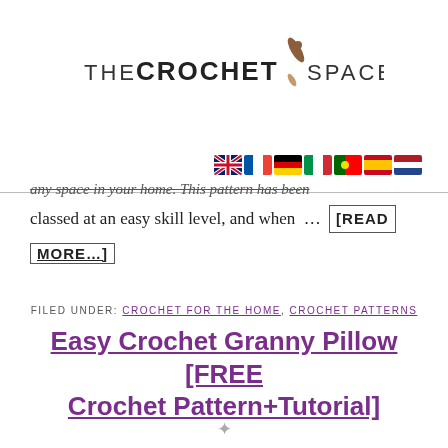[Figure (logo): The Crochet Space logo with text and a crochet hook icon]
[Figure (other): Row of 7 country flag emoji icons (UK, France, Germany, Italy, Portugal, Spain, Netherlands)]
any space in your home. This pattern has been classed at an easy skill level, and when … [READ MORE...]
FILED UNDER: CROCHET FOR THE HOME, CROCHET PATTERNS
Easy Crochet Granny Pillow [FREE Crochet Pattern+Tutorial]